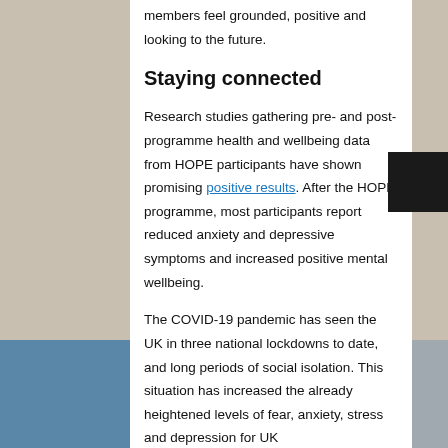members feel grounded, positive and looking to the future.
Staying connected
Research studies gathering pre- and post-programme health and wellbeing data from HOPE participants have shown promising positive results. After the HOPE programme, most participants report reduced anxiety and depressive symptoms and increased positive mental wellbeing.
The COVID-19 pandemic has seen the UK in three national lockdowns to date, and long periods of social isolation. This situation has increased the already heightened levels of fear, anxiety, stress and depression for UK